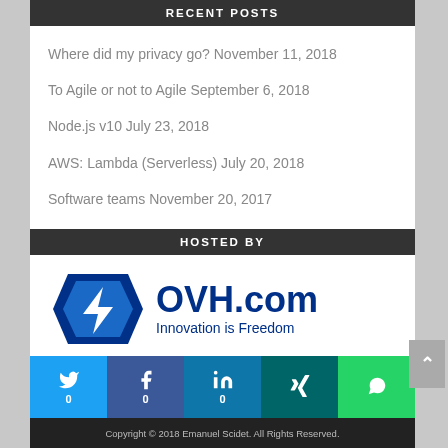RECENT POSTS
Where did my privacy go? November 11, 2018
To Agile or not to Agile September 6, 2018
Node.js v10 July 23, 2018
AWS: Lambda (Serverless) July 20, 2018
Software teams November 20, 2017
HOSTED BY
[Figure (logo): OVH.com logo with text 'Innovation is Freedom']
Copyright © 2018 Emanuel Scidet. All Rights Reserved.